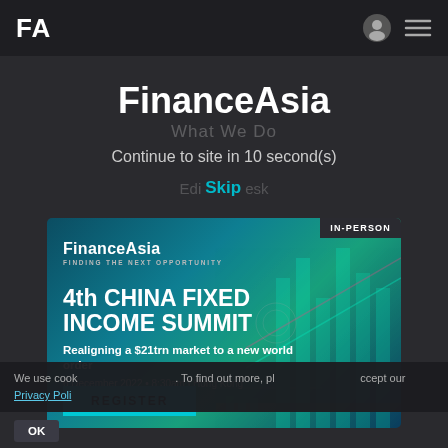FA
FinanceAsia
What We Do
Continue to site in 10 second(s)
Edit Skip esk
[Figure (infographic): FinanceAsia 4th CHINA FIXED INCOME SUMMIT advertisement banner. IN-PERSON badge top right. FinanceAsia logo with tagline FINDING THE NEXT OPPORTUNITY. Title: 4th CHINA FIXED INCOME SUMMIT. Subtitle: Realigning a $21trn market to a new world order. Date: 6 December 2022 • 8:30am | Hong Kong. REGISTER button in cyan.]
We use cookies. To find out more, please accept our Privacy Policy.
OK